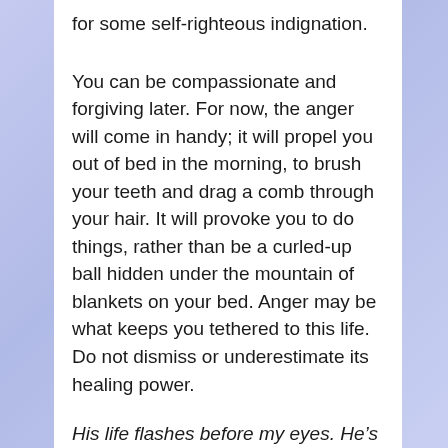for some self-righteous indignation.
You can be compassionate and forgiving later. For now, the anger will come in handy; it will propel you out of bed in the morning, to brush your teeth and drag a comb through your hair. It will provoke you to do things, rather than be a curled-up ball hidden under the mountain of blankets on your bed. Anger may be what keeps you tethered to this life. Do not dismiss or underestimate its healing power.
His life flashes before my eyes. He’s only eighteen. I visit him in the Santa Clara jail. His wavy locks are greasy. He nervously pulls at the three hairs on his chin. He’s been taller than me for several years, but